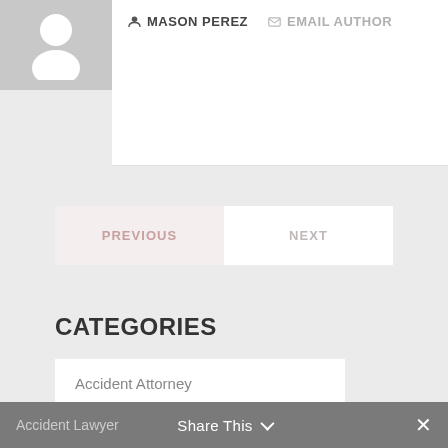[Figure (illustration): Default avatar placeholder — gray square with white person silhouette icon]
MASON PEREZ  EMAIL AUTHOR
CATEGORIES
Accident Attorney
Accident Lawyer
Share This  ×